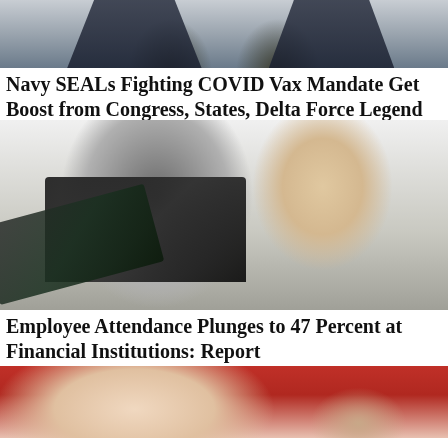[Figure (photo): Two military officers in dark dress uniforms with U.S. insignia, upper bodies visible, cropped at top of page]
Navy SEALs Fighting COVID Vax Mandate Get Boost from Congress, States, Delta Force Legend
[Figure (photo): Two office workers at a desk; a middle-aged man with his hands clasped looking at a laptop, and a blonde woman in the foreground looking at a tablet with documents]
Employee Attendance Plunges to 47 Percent at Financial Institutions: Report
[Figure (photo): Close-up of a young child with headphones, wearing a colorful jacket, looking down]